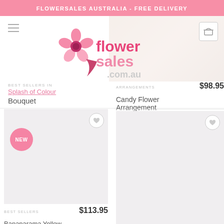FLOWERSALES AUSTRALIA - FREE DELIVERY
[Figure (logo): Flower Sales .com.au logo with pink flower graphic]
BEST SELLERS IN
Splash of Colour
Bouquet
[Figure (photo): Product image placeholder - gray background with NEW badge]
ARRANGEMENTS
$98.95
Candy Flower Arrangement
[Figure (photo): Product image placeholder - gray background]
BEST SELLERS
$113.95
Bananarama Yellow Bouquet in Vase